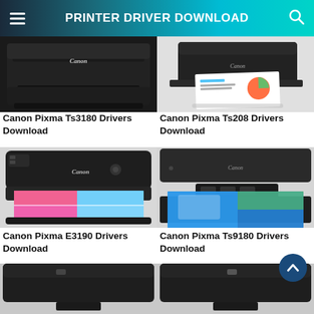PRINTER DRIVER DOWNLOAD
[Figure (photo): Canon Pixma Ts3180 inkjet printer, black, top view]
[Figure (photo): Canon Pixma Ts208 inkjet printer, black, with paper printing]
Canon Pixma Ts3180 Drivers Download
Canon Pixma Ts208 Drivers Download
[Figure (photo): Canon Pixma E3190 all-in-one inkjet printer, black, with colorful paper output]
[Figure (photo): Canon Pixma Ts9180 all-in-one inkjet printer, black, with photo paper output]
Canon Pixma E3190 Drivers Download
Canon Pixma Ts9180 Drivers Download
[Figure (photo): Canon printer, black, partially visible at bottom left]
[Figure (photo): Canon printer, black, partially visible at bottom right]